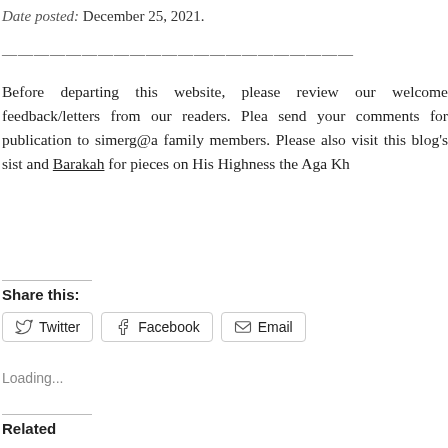Date posted: December 25, 2021.
—————————————————————
Before departing this website, please review our welcome feedback/letters from our readers. Please send your comments for publication to simerg@a... family members. Please also visit this blog's sister and Barakah for pieces on His Highness the Aga Kh...
Share this:
Twitter  Facebook  Email
Loading...
Related